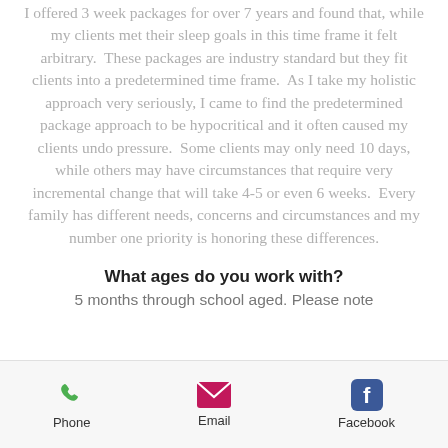I offered 3 week packages for over 7 years and found that, while my clients met their sleep goals in this time frame it felt arbitrary. These packages are industry standard but they fit clients into a predetermined time frame. As I take my holistic approach very seriously, I came to find the predetermined package approach to be hypocritical and it often caused my clients undo pressure. Some clients may only need 10 days, while others may have circumstances that require very incremental change that will take 4-5 or even 6 weeks. Every family has different needs, concerns and circumstances and my number one priority is honoring these differences.
What ages do you work with?
5 months through school aged. Please note
Phone  Email  Facebook